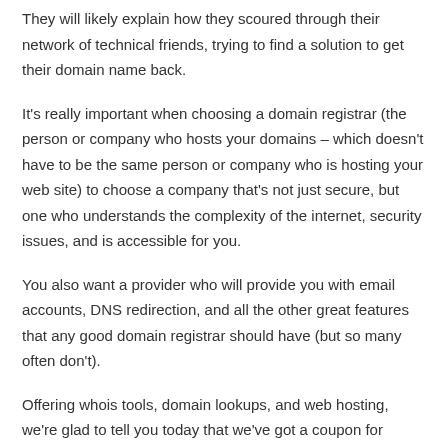They will likely explain how they scoured through their network of technical friends, trying to find a solution to get their domain name back.
It's really important when choosing a domain registrar (the person or company who hosts your domains – which doesn't have to be the same person or company who is hosting your web site) to choose a company that's not just secure, but one who understands the complexity of the internet, security issues, and is accessible for you.
You also want a provider who will provide you with email accounts, DNS redirection, and all the other great features that any good domain registrar should have (but so many often don't).
Offering whois tools, domain lookups, and web hosting, we're glad to tell you today that we've got a coupon for purchasing domains with Network Solutions.